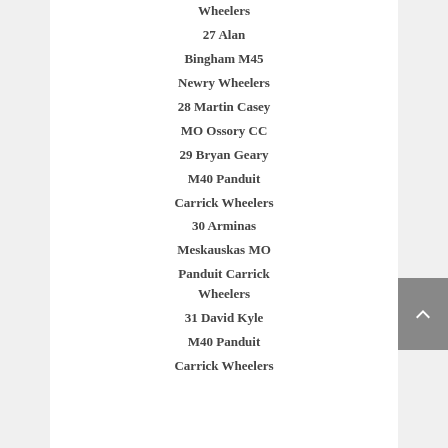Wheelers
27 Alan
Bingham M45
Newry Wheelers
28 Martin Casey
MO Ossory CC
29 Bryan Geary
M40 Panduit
Carrick Wheelers
30 Arminas
Meskauskas MO
Panduit Carrick
Wheelers
31 David Kyle
M40 Panduit
Carrick Wheelers